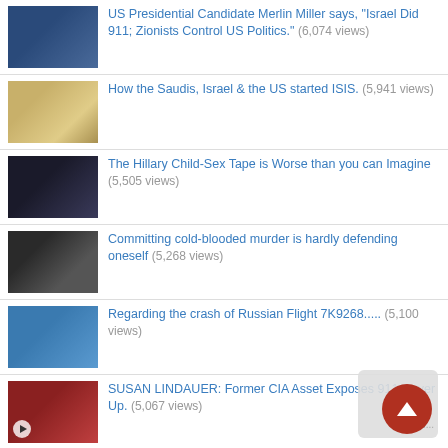US Presidential Candidate Merlin Miller says, "Israel Did 911; Zionists Control US Politics." (6,074 views)
How the Saudis, Israel & the US started ISIS. (5,941 views)
The Hillary Child-Sex Tape is Worse than you can Imagine (5,505 views)
Committing cold-blooded murder is hardly defending oneself (5,268 views)
Regarding the crash of Russian Flight 7K9268..... (5,100 views)
SUSAN LINDAUER: Former CIA Asset Exposes 911 Cover Up. (5,067 views)
San Bernardino victims daughter exposes her mother to be a fake & shooters' family attorney speaks out (5,017 views)